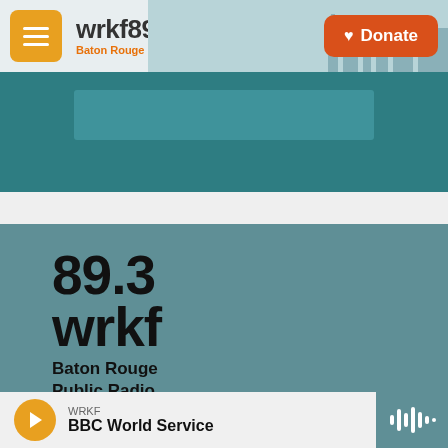[Figure (screenshot): WRKF 89.3 Baton Rouge Public Radio website header with orange menu button, station logo, city skyline background, and orange Donate button]
[Figure (photo): Teal/dark green banner section from the website]
[Figure (logo): Large 89.3 wrkf Baton Rouge Public Radio logo on teal footer background]
© 2021
About
[Figure (screenshot): Audio player bar showing WRKF BBC World Service with orange play button and waveform icon]